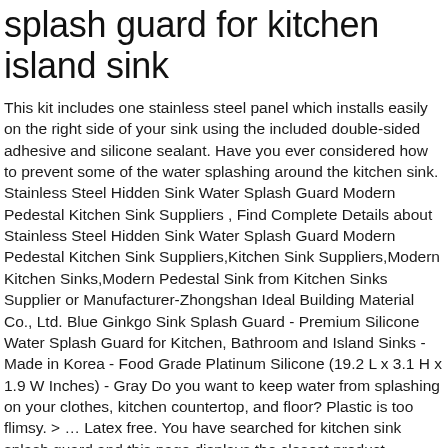splash guard for kitchen island sink
This kit includes one stainless steel panel which installs easily on the right side of your sink using the included double-sided adhesive and silicone sealant. Have you ever considered how to prevent some of the water splashing around the kitchen sink. Stainless Steel Hidden Sink Water Splash Guard Modern Pedestal Kitchen Sink Suppliers , Find Complete Details about Stainless Steel Hidden Sink Water Splash Guard Modern Pedestal Kitchen Sink Suppliers,Kitchen Sink Suppliers,Modern Kitchen Sinks,Modern Pedestal Sink from Kitchen Sinks Supplier or Manufacturer-Zhongshan Ideal Building Material Co., Ltd. Blue Ginkgo Sink Splash Guard - Premium Silicone Water Splash Guard for Kitchen, Bathroom and Island Sinks - Made in Korea - Food Grade Platinum Silicone (19.2 L x 3.1 H x 1.9 W Inches) - Gray Do you want to keep water from splashing on your clothes, kitchen countertop, and floor? Plastic is too flimsy. > … Latex free. You have searched for kitchen sink splash guard and this page displays the closest product matches we have for kitchen sink splash guard to buy online. MarketLab Large Biohazard Shield. width x 23 in. Sink Splash Guard with Easy